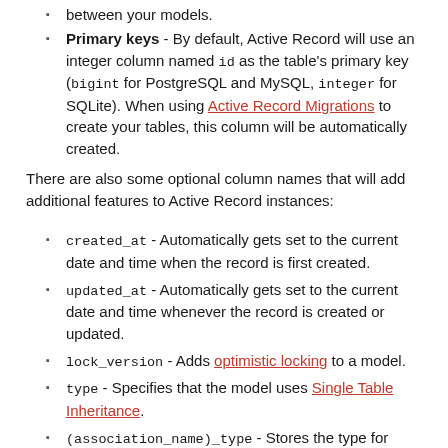between your models.
Primary keys - By default, Active Record will use an integer column named id as the table's primary key (bigint for PostgreSQL and MySQL, integer for SQLite). When using Active Record Migrations to create your tables, this column will be automatically created.
There are also some optional column names that will add additional features to Active Record instances:
created_at - Automatically gets set to the current date and time when the record is first created.
updated_at - Automatically gets set to the current date and time whenever the record is created or updated.
lock_version - Adds optimistic locking to a model.
type - Specifies that the model uses Single Table Inheritance.
(association_name)_type - Stores the type for polymorphic associations.
(table_name)_count - Used to cache the number of belonging objects on associations. For example, a